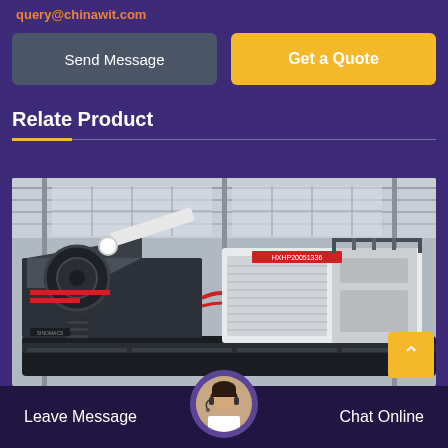query@chinawit.com
Send Message
Get a Quote
Relate Product
[Figure (photo): Industrial mobile crushing/mining machine (HXHP series) photographed inside a large factory/warehouse facility. The machine is large, mounted on a tracked chassis, with a cone crusher unit on the left and a diesel generator/power unit on the right. Red accent colors visible. The label HXHP20051336 appears on the unit.]
Leave Message
Chat Online